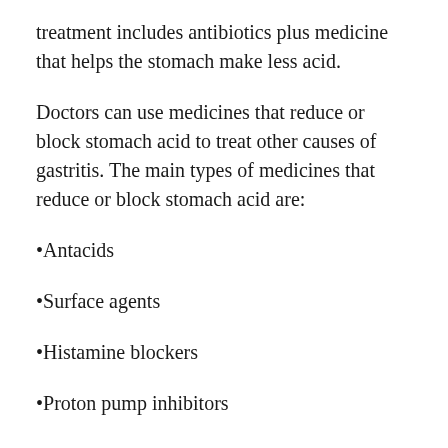treatment includes antibiotics plus medicine that helps the stomach make less acid.
Doctors can use medicines that reduce or block stomach acid to treat other causes of gastritis. The main types of medicines that reduce or block stomach acid are:
Antacids
Surface agents
Histamine blockers
Proton pump inhibitors